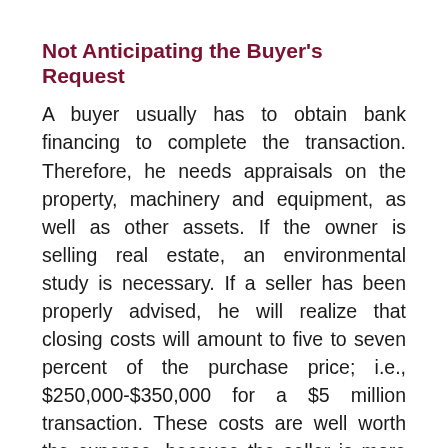Not Anticipating the Buyer's Request
A buyer usually has to obtain bank financing to complete the transaction. Therefore, he needs appraisals on the property, machinery and equipment, as well as other assets. If the owner is selling real estate, an environmental study is necessary. If a seller has been properly advised, he will realize that closing costs will amount to five to seven percent of the purchase price; i.e., $250,000-$350,000 for a $5 million transaction. These costs are well worth the expense, because the seller is more apt to receive a higher price